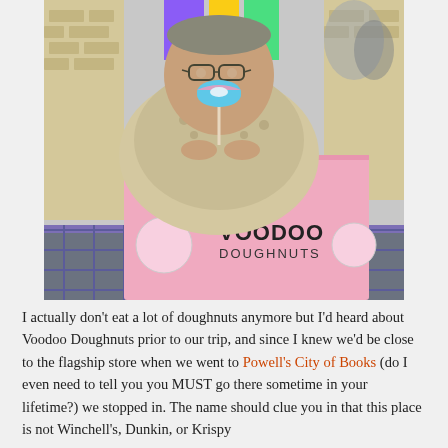[Figure (photo): A man with glasses and a mustache wearing a Hawaiian shirt sits outdoors holding a small colorful donut on a stick, with a large pink Voodoo Doughnuts box in front of him on a table.]
I actually don't eat a lot of doughnuts anymore but I'd heard about Voodoo Doughnuts prior to our trip, and since I knew we'd be close to the flagship store when we went to Powell's City of Books (do I even need to tell you you MUST go there sometime in your lifetime?) we stopped in. The name should clue you in that this place is not Winchell's, Dunkin, or Krispy